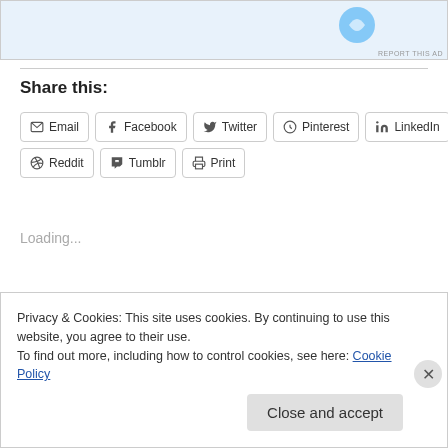[Figure (other): Advertisement banner with blue icon/logo at top of page]
REPORT THIS AD
Share this:
Email
Facebook
Twitter
Pinterest
LinkedIn
Reddit
Tumblr
Print
Loading...
Privacy & Cookies: This site uses cookies. By continuing to use this website, you agree to their use.
To find out more, including how to control cookies, see here: Cookie Policy